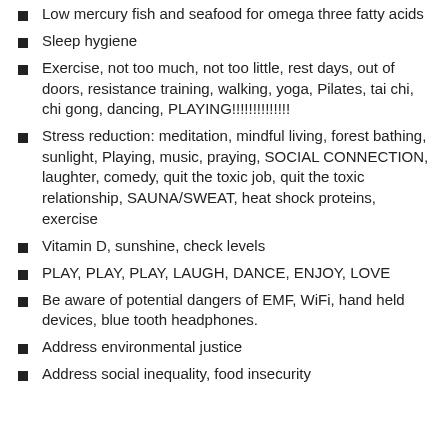Low mercury fish and seafood for omega three fatty acids
Sleep hygiene
Exercise, not too much, not too little, rest days, out of doors, resistance training, walking, yoga, Pilates, tai chi, chi gong, dancing, PLAYING!!!!!!!!!!!!!
Stress reduction: meditation, mindful living, forest bathing, sunlight, Playing, music, praying, SOCIAL CONNECTION, laughter, comedy, quit the toxic job, quit the toxic relationship, SAUNA/SWEAT, heat shock proteins, exercise
Vitamin D, sunshine, check levels
PLAY, PLAY, PLAY, LAUGH, DANCE, ENJOY, LOVE
Be aware of potential dangers of EMF, WiFi, hand held devices, blue tooth headphones.
Address environmental justice
Address social inequality, food insecurity